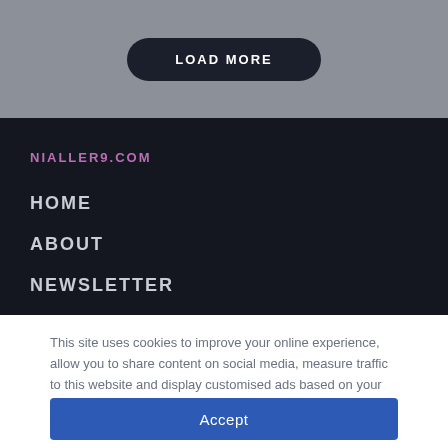LOAD MORE
NIALLER9.COM
HOME
ABOUT
NEWSLETTER
This site uses cookies to improve your online experience, allow you to share content on social media, measure traffic to this website and display customised ads based on your browsing activity.
Accept